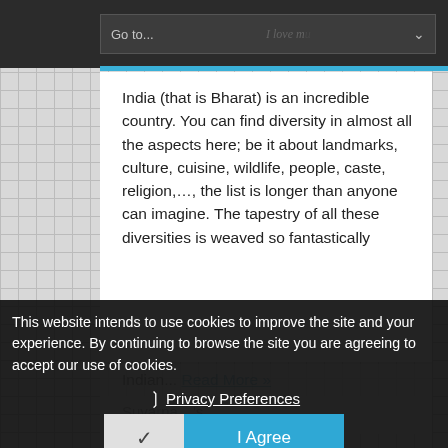[Figure (screenshot): Website screenshot showing a navigation bar with 'Go to...' dropdown, a blue accent bar, and article text about India. Below is a cookie consent overlay with privacy preferences link and 'I Agree' button.]
India (that is Bharat) is an incredible country. You can find diversity in almost all the aspects here; be it about landmarks, culture, cuisine, wildlife, people, caste, religion,..., the list is longer than anyone can imagine. The tapestry of all these diversities is weaved so fantastically
This website intends to use cookies to improve the site and your experience. By continuing to browse the site you are agreeing to accept our use of cookies.
❯ Privacy Preferences
✓  I Agree